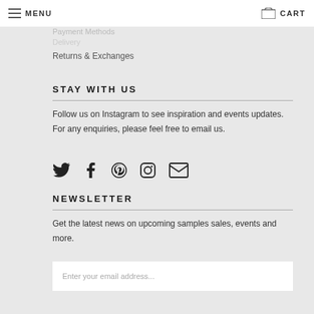MENU    CART
Payment Methods
Delivery
Returns & Exchanges
STAY WITH US
Follow us on Instagram to see inspiration and events updates. For any enquiries, please feel free to email us.
[Figure (infographic): Social media icons: Twitter, Facebook, Pinterest, Instagram, Email]
NEWSLETTER
Get the latest news on upcoming samples sales, events and more.
Enter your email address...